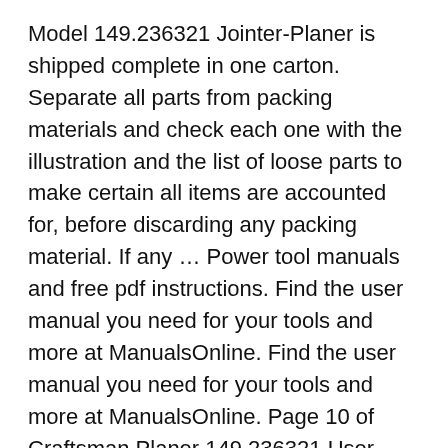Model 149.236321 Jointer-Planer is shipped complete in one carton. Separate all parts from packing materials and check each one with the illustration and the list of loose parts to make certain all items are accounted for, before discarding any packing material. If any … Power tool manuals and free pdf instructions. Find the user manual you need for your tools and more at ManualsOnline. Find the user manual you need for your tools and more at ManualsOnline. Page 10 of Craftsman Planer 149.236321 User Guide ManualsOnline.com
Power tool manuals and free pdf